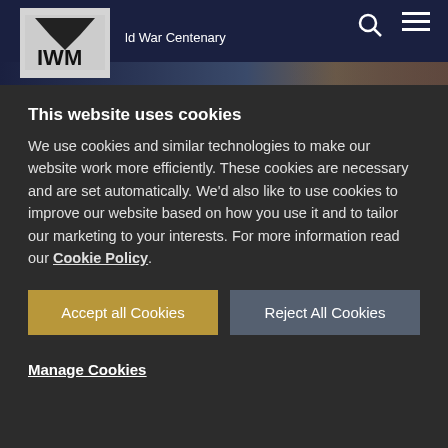[Figure (screenshot): IWM (Imperial War Museum) website header with logo, 'World War Centenary' navigation banner, search icon, hamburger menu, and a background photograph of a building at dusk with a tower/dome visible]
This website uses cookies
We use cookies and similar technologies to make our website work more efficiently. These cookies are necessary and are set automatically. We'd also like to use cookies to improve our website based on how you use it and to tailor our marketing to your interests. For more information read our Cookie Policy.
Accept all Cookies
Reject All Cookies
Manage Cookies